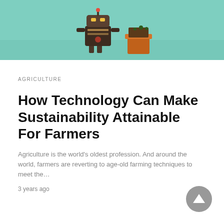[Figure (photo): A small robot figure next to a terracotta flower pot on a teal/mint green surface, photographed from the side.]
AGRICULTURE
How Technology Can Make Sustainability Attainable For Farmers
Agriculture is the world's oldest profession. And around the world, farmers are reverting to age-old farming techniques to meet the…
3 years ago